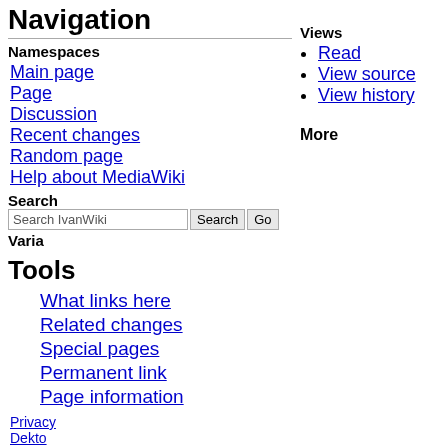Navigation
Namespaces
Main page
Page
Discussion
Recent changes
Random page
Help about MediaWiki
Search
Varia
Views
Read
View source
View history
More
Tools
What links here
Related changes
Special pages
Permanent link
Page information
Privacy